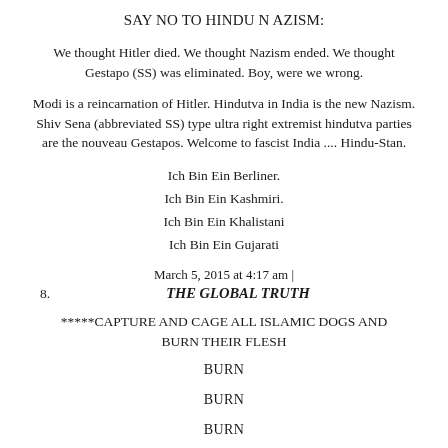SAY NO TO HINDU N AZISM:
We thought Hitler died. We thought Nazism ended. We thought Gestapo (SS) was eliminated. Boy, were we wrong.
Modi is a reincarnation of Hitler. Hindutva in India is the new Nazism. Shiv Sena (abbreviated SS) type ultra right extremist hindutva parties are the nouveau Gestapos. Welcome to fascist India .... Hindu-Stan.
Ich Bin Ein Berliner.
Ich Bin Ein Kashmiri.
Ich Bin Ein Khalistani
Ich Bin Ein Gujarati
March 5, 2015 at 4:17 am |
8. THE GLOBAL TRUTH
*****CAPTURE AND CAGE ALL ISLAMIC DOGS AND BURN THEIR FLESH
BURN
BURN
BURN